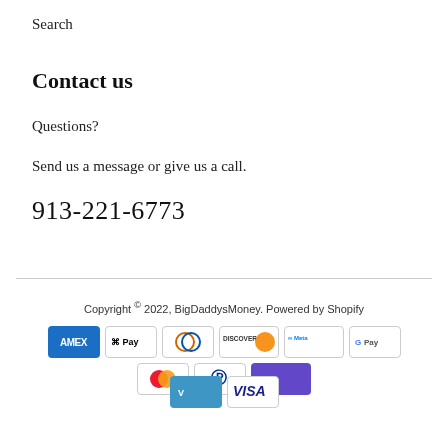Search
Contact us
Questions?
Send us a message or give us a call.
913-221-6773
Copyright © 2022, BigDaddysMoney. Powered by Shopify
[Figure (other): Payment method icons: Amex, Apple Pay, Diners, Discover, Meta, Google Pay, Mastercard, PayPal, ShopPay, Venmo, Visa]